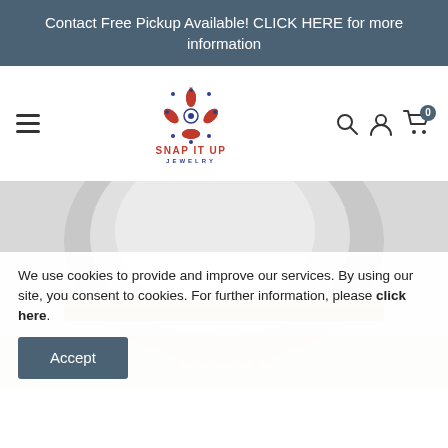Contact Free Pickup Available! CLICK HERE for more information
[Figure (logo): Snap It Up Jewelry logo with decorative snowflake/flower pattern in red and blue, text SNAP IT UP JEWELRY]
We use cookies to provide and improve our services. By using our site, you consent to cookies. For further information, please click here.
[Figure (photo): Close-up photo of silver and gold jewelry pieces, with Mom text watermark visible]